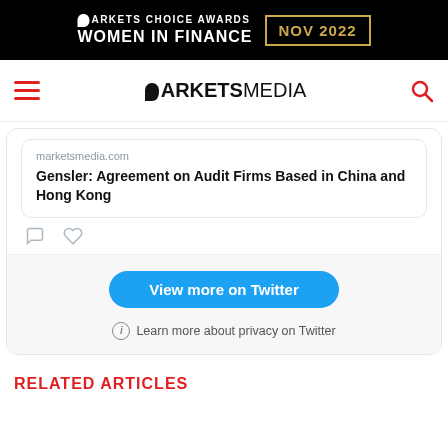[Figure (logo): Markets Choice Awards Women in Finance NOV 2022 banner in black background with gold box]
[Figure (logo): MarketsMedia navigation bar with hamburger menu, logo, and search icon]
marketsmedia.com
Gensler: Agreement on Audit Firms Based in China and Hong Kong
View more on Twitter
Learn more about privacy on Twitter
RELATED ARTICLES